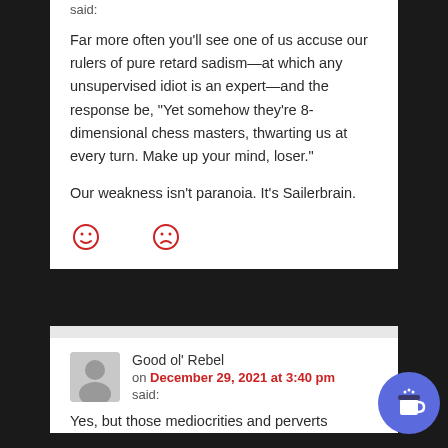said:
Far more often you'll see one of us accuse our rulers of pure retard sadism—at which any unsupervised idiot is an expert—and the response be, “Yet somehow they’re 8-dimensional chess masters, thwarting us at every turn. Make up your mind, loser.”
Our weakness isn’t paranoia. It’s Sailerbrain.
[Figure (other): Two red smiley/frowny face reaction icons]
Good ol’ Rebel
on December 29, 2021 at 3:40 pm
said:
Yes, but those mediocrities and perverts